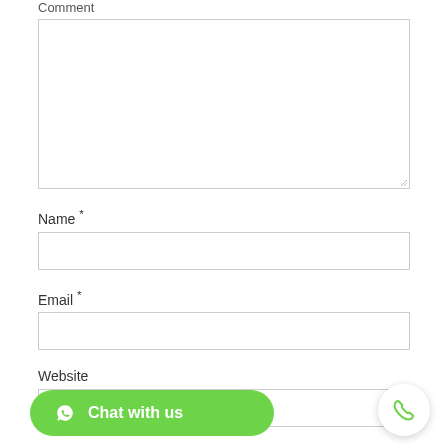Comment
[Figure (screenshot): Large comment textarea input box, empty, with resize handle at bottom-right]
Name *
[Figure (screenshot): Single-line text input for Name, empty]
Email *
[Figure (screenshot): Single-line text input for Email, empty]
Website
[Figure (screenshot): Single-line text input for Website, partially visible at bottom]
[Figure (screenshot): Green rounded chat button with WhatsApp icon and text 'Chat with us', and a white circular phone button on the right]